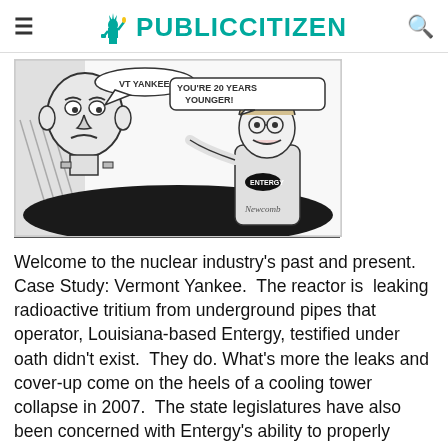≡  PUBLICCITIZEN  🔍
[Figure (illustration): Black-and-white editorial cartoon showing an elderly patient (Vermont Yankee) in a hospital bed being told 'YOU'RE 20 YEARS YOUNGER!' by a doctor wearing an Entergy badge. Speech bubble from the patient reads 'VT YANKEE'. Signed 'Newcomb'.]
Welcome to the nuclear industry's past and present. Case Study: Vermont Yankee.  The reactor is  leaking radioactive tritium from underground pipes that operator, Louisiana-based Entergy, testified under oath didn't exist.  They do. What's more the leaks and cover-up come on the heels of a cooling tower collapse in 2007.  The state legislatures have also been concerned with Entergy's ability to properly retire the plant, if it keeps running past its current